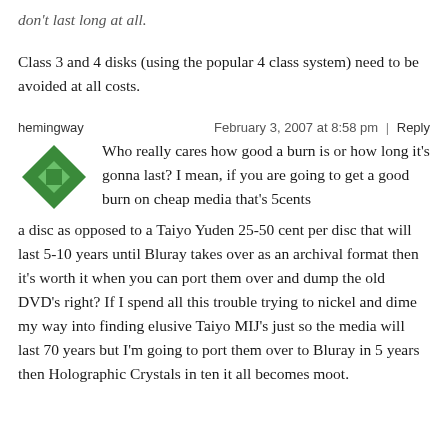don't last long at all.
Class 3 and 4 disks (using the popular 4 class system) need to be avoided at all costs.
hemingway
February 3, 2007 at 8:58 pm | Reply
Who really cares how good a burn is or how long it's gonna last? I mean, if you are going to get a good burn on cheap media that's 5cents a disc as opposed to a Taiyo Yuden 25-50 cent per disc that will last 5-10 years until Bluray takes over as an archival format then it's worth it when you can port them over and dump the old DVD's right? If I spend all this trouble trying to nickel and dime my way into finding elusive Taiyo MIJ's just so the media will last 70 years but I'm going to port them over to Bluray in 5 years then Holographic Crystals in ten it all becomes moot.